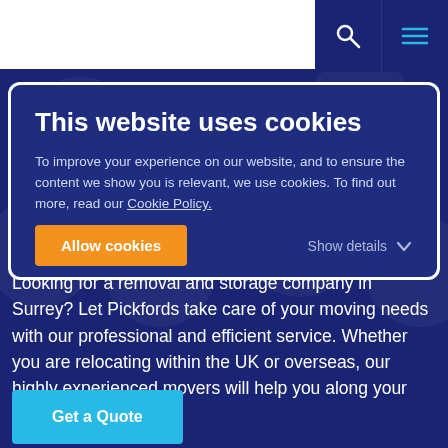This website uses cookies
To improve your experience on our website, and to ensure the content we show you is relevant, we use cookies. To find out more, read our Cookie Policy.
Allow cookies | Show details
Looking for a removal and storage company in Surrey? Let Pickfords take care of your moving needs with our professional and efficient service. Whether you are relocating within the UK or overseas, our highly experienced movers will help you along your way.
Get a Quote